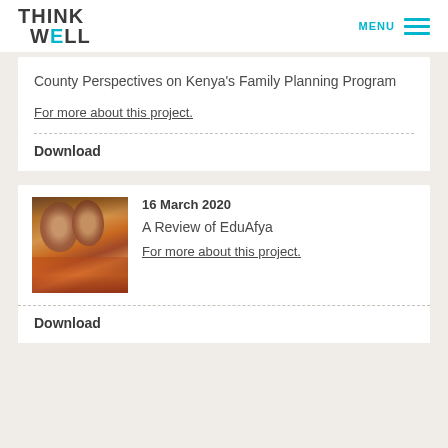THINK WELL | MENU
County Perspectives on Kenya’s Family Planning Program
For more about this project.
Download
16 March 2020
A Review of EduAfya
For more about this project.
[Figure (photo): Two African women in traditional colorful beaded attire and jewelry]
Download